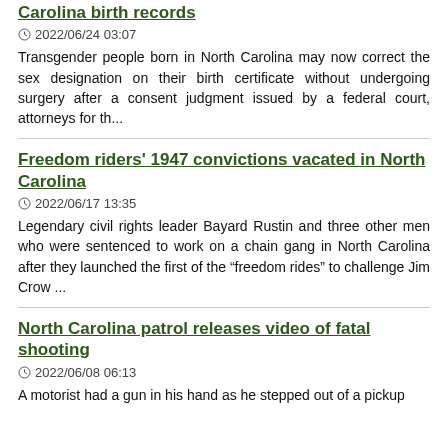Carolina birth records
2022/06/24 03:07
Transgender people born in North Carolina may now correct the sex designation on their birth certificate without undergoing surgery after a consent judgment issued by a federal court, attorneys for th...
Freedom riders' 1947 convictions vacated in North Carolina
2022/06/17 13:35
Legendary civil rights leader Bayard Rustin and three other men who were sentenced to work on a chain gang in North Carolina after they launched the first of the “freedom rides” to challenge Jim Crow ...
North Carolina patrol releases video of fatal shooting
2022/06/08 06:13
A motorist had a gun in his hand as he stepped out of a pickup